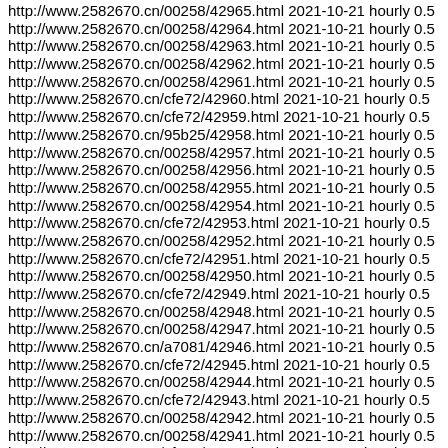http://www.2582670.cn/00258/42965.html 2021-10-21 hourly 0.5
http://www.2582670.cn/00258/42964.html 2021-10-21 hourly 0.5
http://www.2582670.cn/00258/42963.html 2021-10-21 hourly 0.5
http://www.2582670.cn/00258/42962.html 2021-10-21 hourly 0.5
http://www.2582670.cn/00258/42961.html 2021-10-21 hourly 0.5
http://www.2582670.cn/cfe72/42960.html 2021-10-21 hourly 0.5
http://www.2582670.cn/cfe72/42959.html 2021-10-21 hourly 0.5
http://www.2582670.cn/95b25/42958.html 2021-10-21 hourly 0.5
http://www.2582670.cn/00258/42957.html 2021-10-21 hourly 0.5
http://www.2582670.cn/00258/42956.html 2021-10-21 hourly 0.5
http://www.2582670.cn/00258/42955.html 2021-10-21 hourly 0.5
http://www.2582670.cn/00258/42954.html 2021-10-21 hourly 0.5
http://www.2582670.cn/cfe72/42953.html 2021-10-21 hourly 0.5
http://www.2582670.cn/00258/42952.html 2021-10-21 hourly 0.5
http://www.2582670.cn/cfe72/42951.html 2021-10-21 hourly 0.5
http://www.2582670.cn/00258/42950.html 2021-10-21 hourly 0.5
http://www.2582670.cn/cfe72/42949.html 2021-10-21 hourly 0.5
http://www.2582670.cn/00258/42948.html 2021-10-21 hourly 0.5
http://www.2582670.cn/00258/42947.html 2021-10-21 hourly 0.5
http://www.2582670.cn/a7081/42946.html 2021-10-21 hourly 0.5
http://www.2582670.cn/cfe72/42945.html 2021-10-21 hourly 0.5
http://www.2582670.cn/00258/42944.html 2021-10-21 hourly 0.5
http://www.2582670.cn/cfe72/42943.html 2021-10-21 hourly 0.5
http://www.2582670.cn/00258/42942.html 2021-10-21 hourly 0.5
http://www.2582670.cn/00258/42941.html 2021-10-21 hourly 0.5
http://www.2582670.cn/cfe72/42940.html 2021-10-21 hourly 0.5